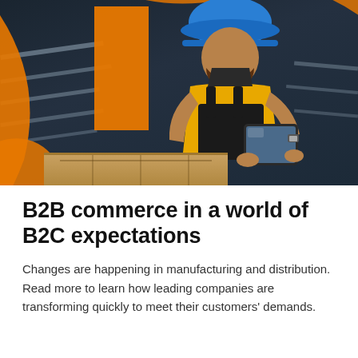[Figure (photo): A bearded man wearing a blue hard hat and yellow shirt with black overalls, holding a tablet in an industrial warehouse with metal shelving racks. Orange decorative swoosh shapes and an orange rectangle overlay the photo.]
B2B commerce in a world of B2C expectations
Changes are happening in manufacturing and distribution. Read more to learn how leading companies are transforming quickly to meet their customers' demands.